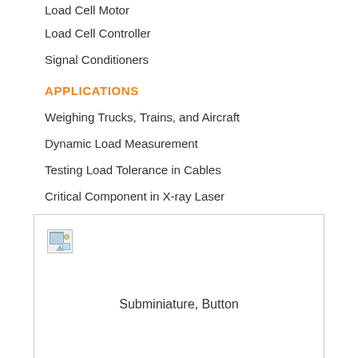Load Cell Motor
Load Cell Controller
Signal Conditioners
APPLICATIONS
Weighing Trucks, Trains, and Aircraft
Dynamic Load Measurement
Testing Load Tolerance in Cables
Critical Component in X-ray Laser
[Figure (photo): Subminiature, Button load cell product image (broken/missing image placeholder shown)]
Subminiature, Button